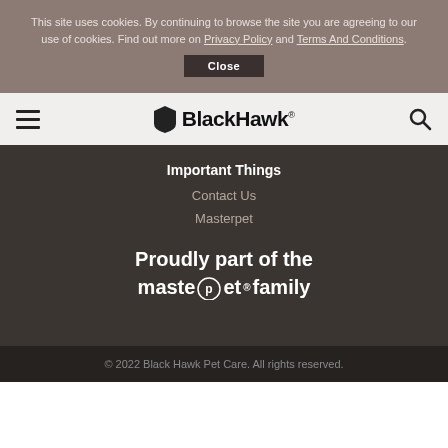This site uses cookies. By continuing to browse the site you are agreeing to our use of cookies. Find out more on Privacy Policy and Terms And Conditions.
Close
[Figure (logo): BlackHawk pet food brand logo with navigation hamburger menu and search icon]
Important Things
Contact Us
Masterpet
[Figure (logo): Proudly part of the masterpet family logo in white text]
© 2022 Black Hawk Pet Care. All rights reserved.